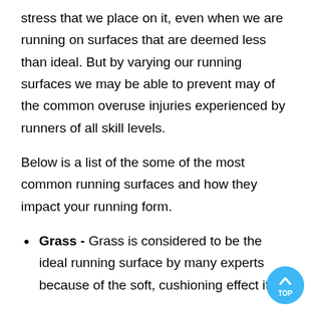stress that we place on it, even when we are running on surfaces that are deemed less than ideal. But by varying our running surfaces we may be able to prevent may of the common overuse injuries experienced by runners of all skill levels.
Below is a list of the some of the most common running surfaces and how they impact your running form.
Grass - Grass is considered to be the ideal running surface by many experts because of the soft, cushioning effect it